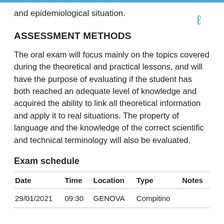and epidemiological situation.
ASSESSMENT METHODS
The oral exam will focus mainly on the topics covered during the theoretical and practical lessons, and will have the purpose of evaluating if the student has both reached an adequate level of knowledge and acquired the ability to link all theoretical information and apply it to real situations. The property of language and the knowledge of the correct scientific and technical terminology will also be evaluated.
Exam schedule
| Date | Time | Location | Type | Notes |
| --- | --- | --- | --- | --- |
| 29/01/2021 | 09:30 | GENOVA | Compitino |  |